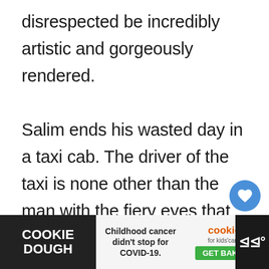disrespected be incredibly artistic and gorgeously rendered.

Salim ends his wasted day in a taxi cab. The driver of the taxi is none other than the man with the fiery eyes that Wednesday met with while Shadow was shopping in the previous episode. Salim strikes up a conversation with the driver after discovering that they speak the same language. And they know what it is like to be an immigrant in America. Salim eventually discovers the man's fiery eyes and co...
[Figure (screenshot): UI overlay with heart/like button showing count 1 and share button]
[Figure (screenshot): What's Next banner showing 'The Real Housewives ...' with buddy logo]
[Figure (screenshot): Advertisement bar at bottom: Cookie Dough ad - 'Childhood cancer didn't stop for COVID-19.' with cookies for kids cancer GET BAKING button]